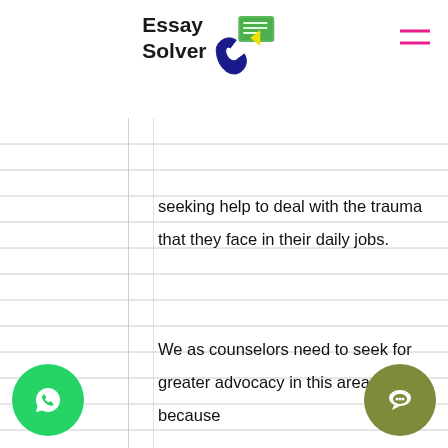Essay Solver
seeking help to deal with the trauma that they face in their daily jobs.
We as counselors need to seek for greater advocacy in this area because